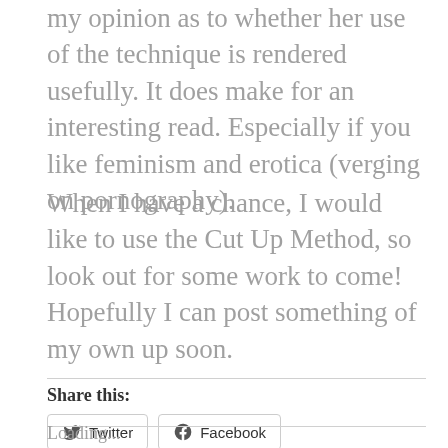my opinion as to whether her use of the technique is rendered usefully. It does make for an interesting read. Especially if you like feminism and erotica (verging on pornography).
When I have a chance, I would like to use the Cut Up Method, so look out for some work to come! Hopefully I can post something of my own up soon.
Share this:
Twitter
Facebook
Loading...